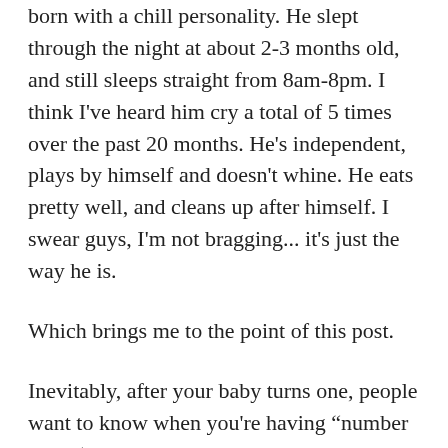born with a chill personality. He slept through the night at about 2-3 months old, and still sleeps straight from 8am-8pm. I think I've heard him cry a total of 5 times over the past 20 months. He's independent, plays by himself and doesn't whine. He eats pretty well, and cleans up after himself. I swear guys, I'm not bragging... it's just the way he is.
Which brings me to the point of this post.
Inevitably, after your baby turns one, people want to know when you're having “number two” (the middle schooler in me who never grew up is laughing REALLY hard at “number two”!!!). And the first thing that pops into my mind is that saying “One is like none and two is like ten” (or something like that)... life is SO good right now; or little trio is so easy to manage (but don't get me wrong, it's not like every single